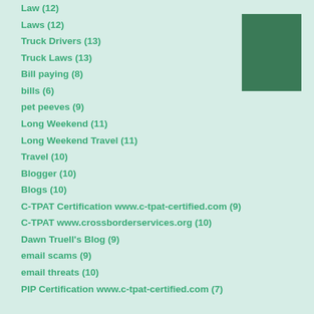Law (12)
Laws (12)
Truck Drivers (13)
Truck Laws (13)
Bill paying (8)
bills (6)
pet peeves (9)
Long Weekend (11)
Long Weekend Travel (11)
Travel (10)
Blogger (10)
Blogs (10)
C-TPAT Certification www.c-tpat-certified.com (9)
C-TPAT www.crossborderservices.org (10)
Dawn Truell's Blog (9)
email scams (9)
email threats (10)
PIP Certification www.c-tpat-certified.com (7)